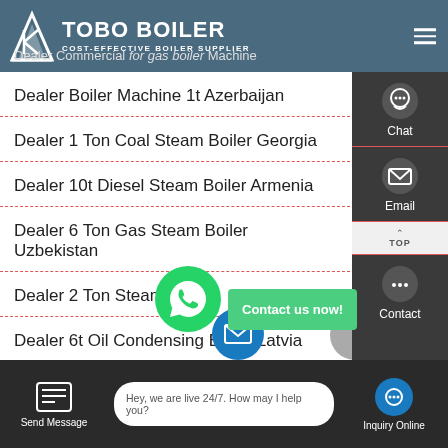TOBO BOILER - COST-EFFECTIVE BOILER SUPPLIER
Dealer Boiler Machine 1t Azerbaijan
Dealer 1 Ton Coal Steam Boiler Georgia
Dealer 10t Diesel Steam Boiler Armenia
Dealer 6 Ton Gas Steam Boiler Uzbekistan
Dealer 2 Ton Steam Boiler
Dealer 6t Oil Condensing Boiler Latvia
Send Message | Hey, we are live 24/7. How may I help you? | Inquiry Online